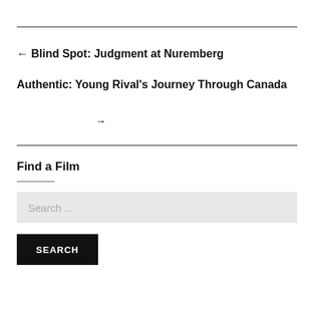← Blind Spot: Judgment at Nuremberg
Authentic: Young Rival's Journey Through Canada →
Find a Film
Search ...
SEARCH